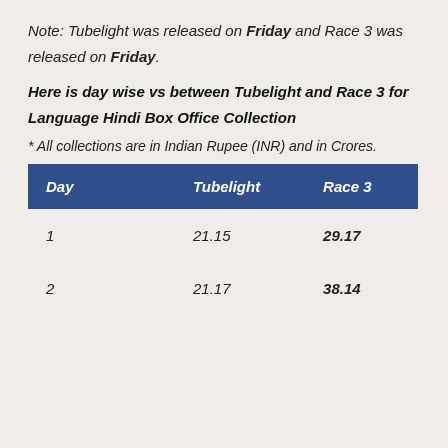Note: Tubelight was released on Friday and Race 3 was released on Friday.
Here is day wise vs between Tubelight and Race 3 for Language Hindi Box Office Collection
* All collections are in Indian Rupee (INR) and in Crores.
| Day | Tubelight | Race 3 |
| --- | --- | --- |
| 1 | 21.15 | 29.17 |
| 2 | 21.17 | 38.14 |